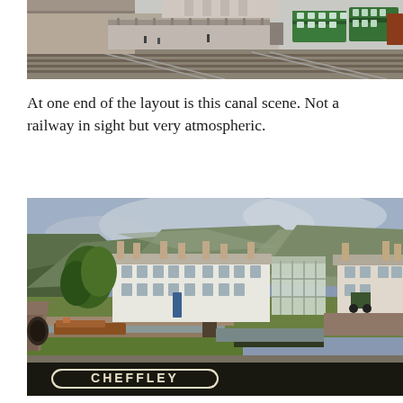[Figure (photo): Aerial view of a model railway layout showing a station area with green double-decker buses, tracks, and buildings including what appears to be a goods shed or station building on the left.]
At one end of the layout is this canal scene. Not a railway in sight but very atmospheric.
[Figure (photo): Model railway layout showing a canal scene with white terraced cottages, a canal with a narrowboat, lock gates, green hills/mountains backdrop, and a station nameplate reading 'CHEFFLEY' at the bottom.]